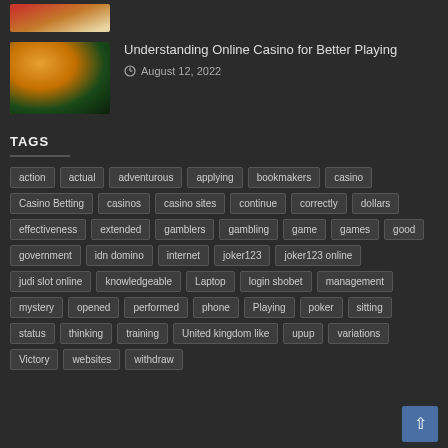[Figure (photo): Partial view of casino chips/cards thumbnail at top]
[Figure (photo): Casino dealer hands with chips on green table - orange bokeh background]
Understanding Online Casino for Better Playing
August 12, 2022
TAGS
action
actual
adventurous
applying
bookmakers
casino
Casino Betting
casinos
casino sites
continue
correctly
dollars
effectiveness
extended
gamblers
gambling
game
games
good
government
idn domino
internet
joker123
joker123 online
judi slot online
knowledgeable
Laptop
login sbobet
management
mystery
opened
performed
phone
Playing
poker
sitting
status
thinking
training
United kingdom like
upup
variations
Victory
websites
withdraw